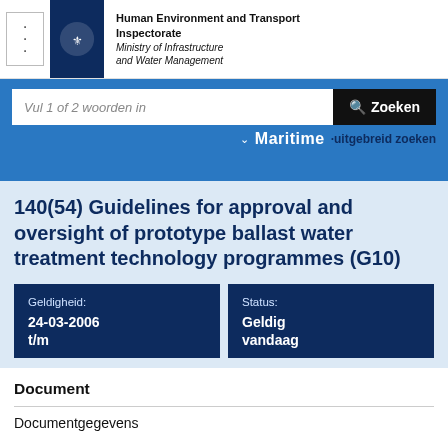Human Environment and Transport Inspectorate Ministry of Infrastructure and Water Management
140(54) Guidelines for approval and oversight of prototype ballast water treatment technology programmes (G10)
| Geldigheid | Status |
| --- | --- |
| 24-03-2006 t/m | Geldig vandaag |
Document
Documentgegevens